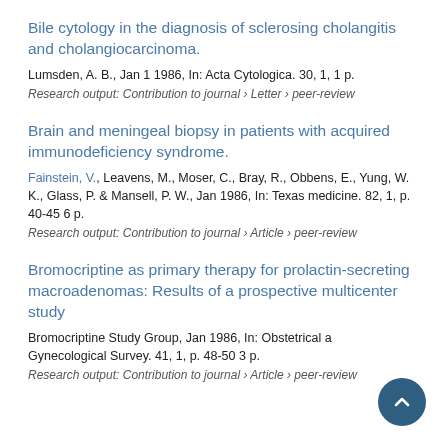Bile cytology in the diagnosis of sclerosing cholangitis and cholangiocarcinoma.
Lumsden, A. B., Jan 1 1986, In: Acta Cytologica. 30, 1, 1 p.
Research output: Contribution to journal › Letter › peer-review
Brain and meningeal biopsy in patients with acquired immunodeficiency syndrome.
Fainstein, V., Leavens, M., Moser, C., Bray, R., Obbens, E., Yung, W. K., Glass, P. & Mansell, P. W., Jan 1986, In: Texas medicine. 82, 1, p. 40-45 6 p.
Research output: Contribution to journal › Article › peer-review
Bromocriptine as primary therapy for prolactin-secreting macroadenomas: Results of a prospective multicenter study
Bromocriptine Study Group, Jan 1986, In: Obstetrical and Gynecological Survey. 41, 1, p. 48-50 3 p.
Research output: Contribution to journal › Article › peer-review